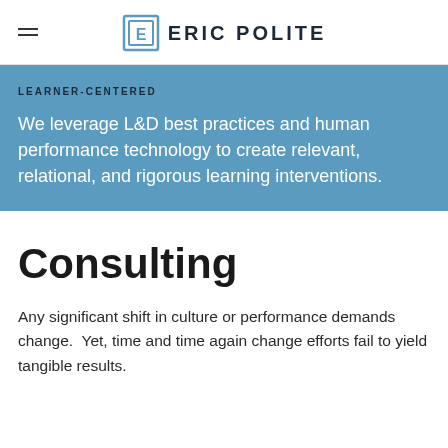ERIC POLITE
LEARNER-CENTERED
We leverage L&D best practices and human performance technology to create relevant, relational, and rigorous learning interventions.
Consulting
Any significant shift in culture or performance demands change. Yet, time and time again change efforts fail to yield tangible results.